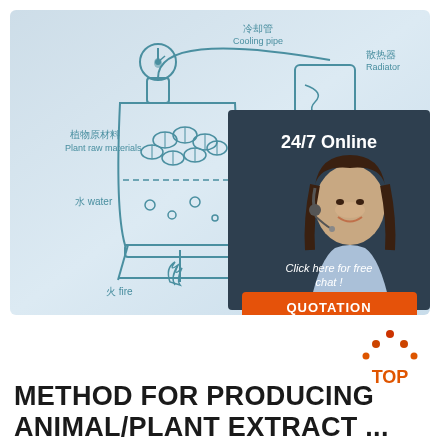[Figure (schematic): Plant extraction/distillation apparatus diagram with Chinese and English labels: 冷却管 Cooling pipe, 散热器 Radiator, 植物原材料 Plant raw materials, 水 water, 火 fire, 纯露 Hydrosol. Overlaid with a dark panel showing a customer service agent photo, '24/7 Online', 'Click here for free chat!', and 'QUOTATION' button.]
METHOD FOR PRODUCING ANIMAL/PLANT EXTRACT ...